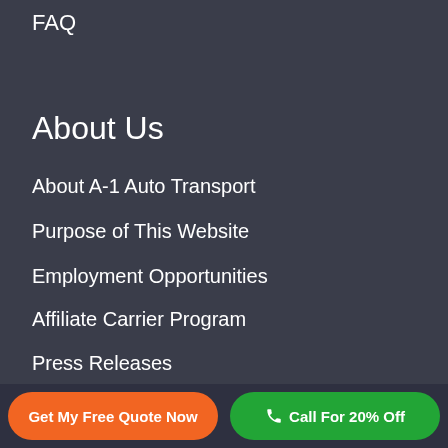FAQ
About Us
About A-1 Auto Transport
Purpose of This Website
Employment Opportunities
Affiliate Carrier Program
Press Releases
Latest News
Mobile Apps
Get My Free Quote Now
Call For 20% Off